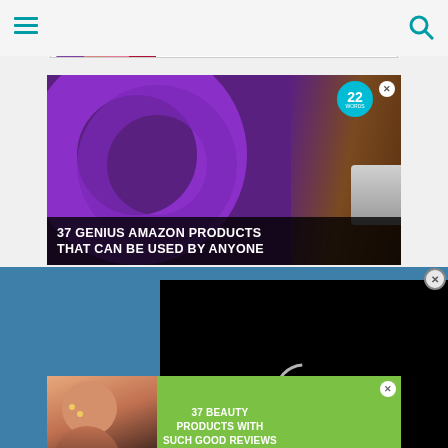[Figure (screenshot): Website screenshot with top navigation bar, hamburger menu icon on left and search icon on right]
[Figure (screenshot): MAC cosmetics banner advertisement showing lipsticks with MAC logo and SHOP NOW button]
[Figure (screenshot): Advertisement: 37 GENIUS AMAZON PRODUCTS THAT CAN BE USED BY ANYONE - purple headphones on wood background with 22 Words badge]
[Figure (screenshot): Black video player overlay with circular loading spinner and CLOSE button]
[Figure (screenshot): Advertisement: 37 BEAUTY PRODUCTS WITH SUCH GOOD REVIEWS YOU MIGHT WANT TO TRY THEM YOURSELF - green background with woman model and 22 Words badge]